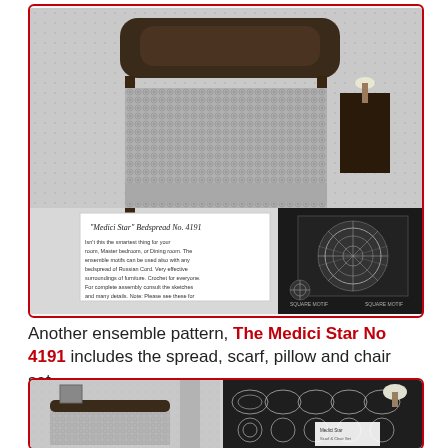[Figure (photo): Black and white photograph of a bedroom showing a bed covered with a crocheted Medici Star bedspread. Below the main photo is a text card reading 'Medici Star Bedspread No. 4191' with descriptive text, and two smaller detail photos showing the pattern motifs labeled 'SQUARE MOTIF'.]
Another ensemble pattern, The Medici Star No 4191 includes the spread, scarf, pillow and chair set.
[Figure (photo): Black and white photographs showing a bedroom with a crocheted bedspread on a bed (left) and a close-up of a scarf/doily arrangement with multiple circular and oval crocheted pieces laid on a surface (right).]